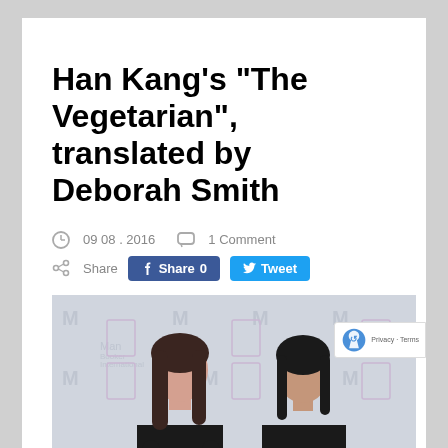Han Kang’s “The Vegetarian”, translated by Deborah Smith
09 08 . 2016   1 Comment
Share   Share 0   Tweet
[Figure (photo): Two women standing in front of Man Booker International Prize backdrop, each holding a trophy. Deborah Smith is on the left.]
Deborah Smith (left), translator of the winning book, The